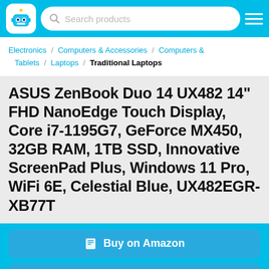Search products
Electronics / Computers & Accessories / Computers & Tablets / Laptops / Traditional Laptops
ASUS ZenBook Duo 14 UX482 14" FHD NanoEdge Touch Display, Core i7-1195G7, GeForce MX450, 32GB RAM, 1TB SSD, Innovative ScreenPad Plus, Windows 11 Pro, WiFi 6E, Celestial Blue, UX482EGR-XB77T
Buy on Amazon
Start Watching